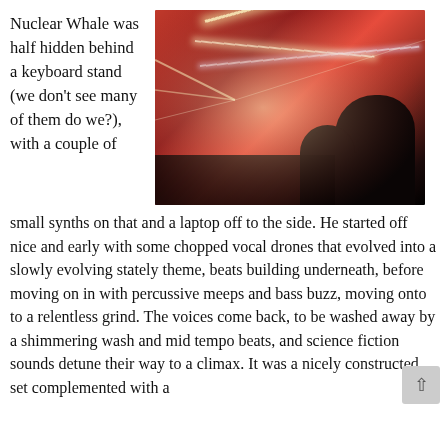Nuclear Whale was half hidden behind a keyboard stand (we don't see many of them do we?), with a couple of
[Figure (photo): Concert/DJ performance photo with vivid red lighting and bright laser beams, silhouettes of performers visible against the dramatic light show]
small synths on that and a laptop off to the side. He started off nice and early with some chopped vocal drones that evolved into a slowly evolving stately theme, beats building underneath, before moving on in with percussive meeps and bass buzz, moving onto to a relentless grind. The voices come back, to be washed away by a shimmering wash and mid tempo beats, and science fiction sounds detune their way to a climax. It was a nicely constructed set complemented with a